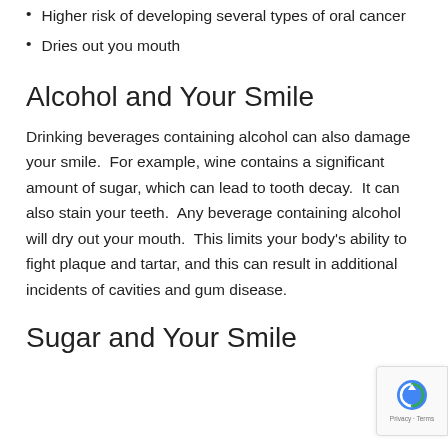Higher risk of developing several types of oral cancer
Dries out you mouth
Alcohol and Your Smile
Drinking beverages containing alcohol can also damage your smile.  For example, wine contains a significant amount of sugar, which can lead to tooth decay.  It can also stain your teeth.  Any beverage containing alcohol will dry out your mouth.  This limits your body's ability to fight plaque and tartar, and this can result in additional incidents of cavities and gum disease.
Sugar and Your Smile